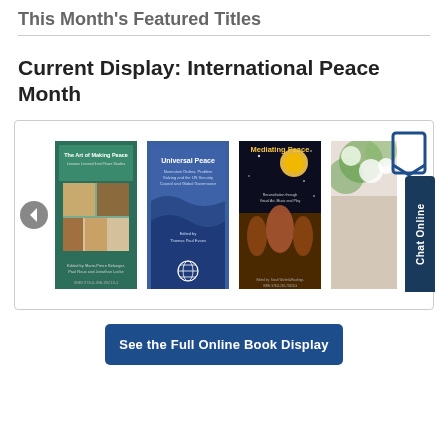This Month's Featured Titles
Current Display: International Peace Month
[Figure (screenshot): Carousel of book covers for International Peace Month display, including: 'The Art of Making Peace', 'Universal Peace' (blue UN book), 'Mediating Peace', and a partial fourth book cover. Navigation arrow on left. Bookmark icon and 'Chat Online' button on right.]
See the Full Online Book Display